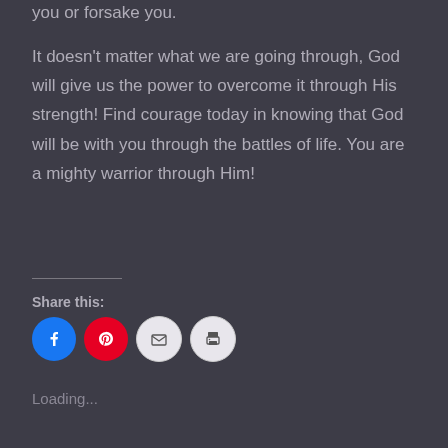you or forsake you.
It doesn't matter what we are going through, God will give us the power to overcome it through His strength! Find courage today in knowing that God will be with you through the battles of life. You are a mighty warrior through Him!
Share this:
[Figure (infographic): Four circular social share buttons: Facebook (blue), Pinterest (red), Email (light gray), Print (light gray)]
Loading...